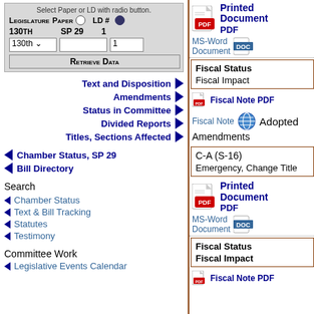[Figure (screenshot): Legislature Paper/LD# selection form with radio buttons, dropdown for 130th, input fields, and Retrieve Data button]
Text and Disposition ▶
Amendments ▶
Status in Committee ▶
Divided Reports ▶
Titles, Sections Affected ▶
◀ Chamber Status, SP 29
◀ Bill Directory
Search
◀ Chamber Status
◀ Text & Bill Tracking
◀ Statutes
◀ Testimony
Committee Work
◀ Legislative Events Calendar
[Figure (screenshot): Printed Document PDF icon with PDF logo]
MS-Word Document
| Fiscal Status |
| --- |
| Fiscal Impact |
Fiscal Note PDF
Fiscal Note   Adopted Amendments
C-A (S-16)
Emergency, Change Title
[Figure (screenshot): Printed Document PDF icon with PDF logo]
MS-Word Document
| Fiscal Status |
| --- |
| Fiscal Impact |
Fiscal Note PDF